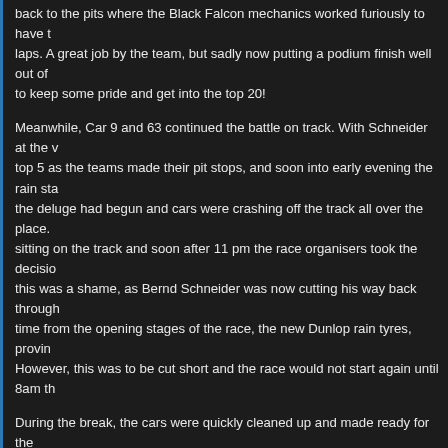back to the pits where the Black Falcon mechanics worked furiously to have the car repaired and back out within a few laps. A great job by the team, but sadly now putting a podium finish well out of reach. However, the team worked hard to keep some pride and get into the top 20!
Meanwhile, Car 9 and 63 continued the battle on track. With Schneider at the wheel, Car 9 was fighting hard in the top 5 as the teams made their pit stops, and soon into early evening the rain started. Before long the full force of the deluge had begun and cars were crashing off the track all over the place. There were several stricken vehicles sitting on the track and soon after 11 pm the race organisers took the decision to red flag the race. In many ways this was a shame, as Bernd Schneider was now cutting his way back through the field and for the first time from the opening stages of the race, the new Dunlop rain tyres, proving their worth in extreme conditions. However, this was to be cut short and the race would not start again until 8am the next morning.
During the break, the cars were quickly cleaned up and made ready for the restart, which also allowed the team members some time to sleep. However with the race clock still ticking, time was running out for Car 9 and 63 to get to the front.
With great relief the race restarted at 8am and all three SLS were on track in what was a mixed up field. In conditions like these, the drivers had to be extra cautious to avoid getting involved in any incidents, but there was not a lot of time to be too careful. There was a race to be won and Bernd Schneider had a point to prove. With the Dunlop tyre working at its best, Schneider set the fastest laps in the field and pushed Car 9 forward, however this saw the team have their hearts in their mouths on many occasions. Soon Edward Sandström took over and continued to be the fastest man on track. Car 63 in the hands of Nürburgring 24 hour first timer Kenneth Heyer meanwhile had crept its way into the top 20. Vimal Mehta took over for a clean stint before handing back to Bracke.